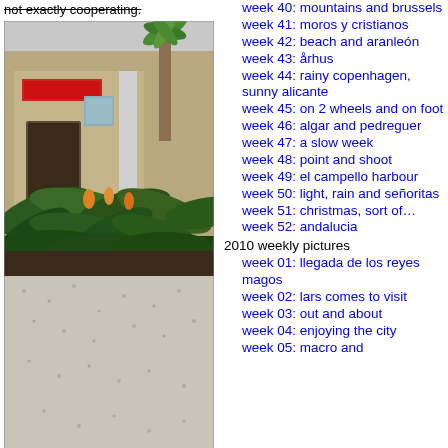not exactly cooperating.
[Figure (photo): Outdoor photo showing tropical plants with green leaves and orange flowers in the foreground, a stone building with a red sign, a palm tree, and a gravel path in the background.]
week 40: mountains and brussels
week 41: moros y cristianos
week 42: beach and aranleón
week 43: århus
week 44: rainy copenhagen, sunny alicante
week 45: on 2 wheels and on foot
week 46: algar and pedreguer
week 47: a slow week
week 48: point and shoot
week 49: el campello harbour
week 50: light, rain and señoritas
week 51: christmas, sort of…
week 52: andalucia
2010 weekly pictures
week 01: llegada de los reyes magos
week 02: lars comes to visit
week 03: out and about
week 04: enjoying the city
week 05: macro and